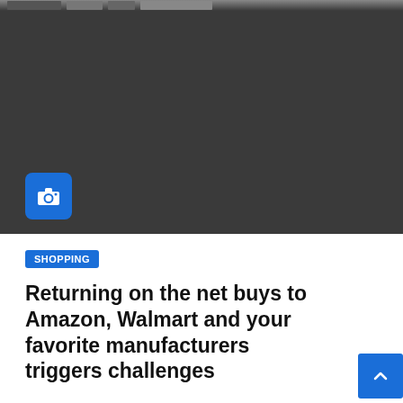[Figure (photo): Dark photograph area showing partially visible shelves or products in a dim environment, with a blue camera icon badge in the bottom-left corner of the image]
SHOPPING
Returning on the net buys to Amazon, Walmart and your favorite manufacturers triggers challenges